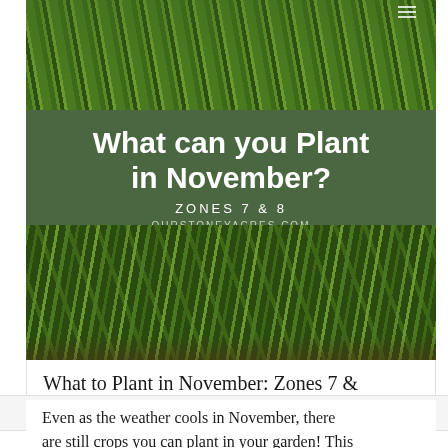[Figure (photo): Green leafy plants (garlic or similar crops) growing in a garden, viewed from above, top photo]
What can you Plant in November?
ZONES 7 & 8
OURSTONEYACRES.COM
[Figure (photo): Green leafy plants growing in rows with visible soil/dirt, bottom photo]
What to Plant in November: Zones 7 & 8
October 28, 2020 // by Rick
Even as the weather cools in November, there are still crops you can plant in your garden! This